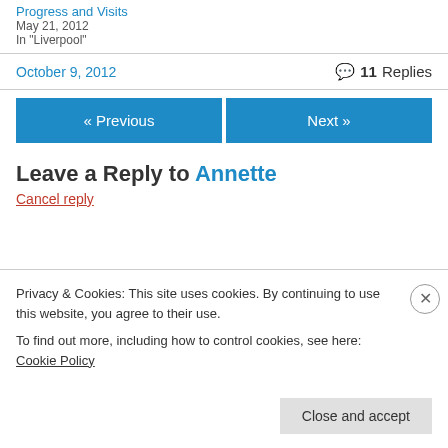Progress and Visits
May 21, 2012
In "Liverpool"
October 9, 2012   💬 11 Replies
« Previous
Next »
Leave a Reply to Annette
Cancel reply
Privacy & Cookies: This site uses cookies. By continuing to use this website, you agree to their use.
To find out more, including how to control cookies, see here: Cookie Policy
Close and accept